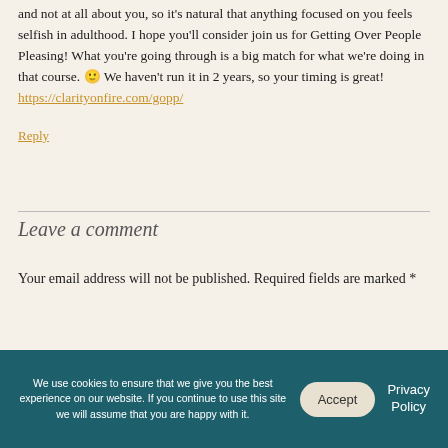and not at all about you, so it's natural that anything focused on you feels selfish in adulthood. I hope you'll consider join us for Getting Over People Pleasing! What you're going through is a big match for what we're doing in that course. 🙂 We haven't run it in 2 years, so your timing is great! https://clarityonfire.com/gopp/
Reply
Leave a comment
Your email address will not be published. Required fields are marked *
We use cookies to ensure that we give you the best experience on our website. If you continue to use this site we will assume that you are happy with it.
Accept
Privacy Policy